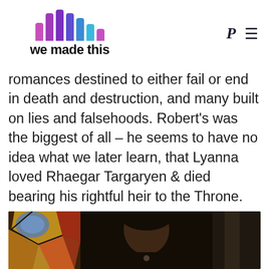we made this
romances destined to either fail or end in death and destruction, and many built on lies and falsehoods. Robert's was the biggest of all – he seems to have no idea what we later learn, that Lyanna loved Rhaegar Targaryen & died bearing his rightful heir to the Throne.
[Figure (photo): A man with dark hair in dark clothing sitting in a dimly lit room with stained glass visible in the background — appears to be a scene from Game of Thrones featuring Ned Stark (Sean Bean).]